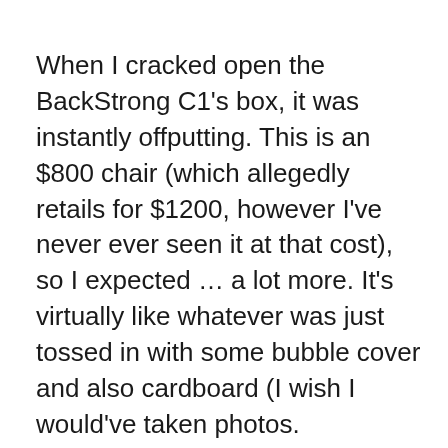When I cracked open the BackStrong C1’s box, it was instantly offputting. This is an $800 chair (which allegedly retails for $1200, however I’ve never ever seen it at that cost), so I expected … a lot more. It’s virtually like whatever was just tossed in with some bubble cover and also cardboard (I wish I would’ve taken photos. Unfortunately.). Not a great first impression.
Assembly is pretty uncomplicated right here–it’s a couple of screws, as well as you’re done. When it’s all completed, you obtain a pivoty little chair inside a larger chair that can increase and reduced. The arms additionally fold to finish if you need, however they don’t raise or lower, nor do